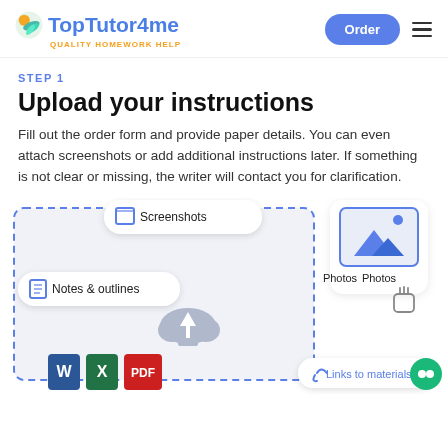TopTutor4me — QUALITY HOMEWORK HELP | Order
STEP 1
Upload your instructions
Fill out the order form and provide paper details. You can even attach screenshots or add additional instructions later. If something is not clear or missing, the writer will contact you for clarification.
[Figure (illustration): Screenshot of upload interface showing file type options: Screenshots, Notes & outlines, Photos, Links to materials, and file icons (Word, Excel, PDF) with a cloud upload icon and hand cursor]